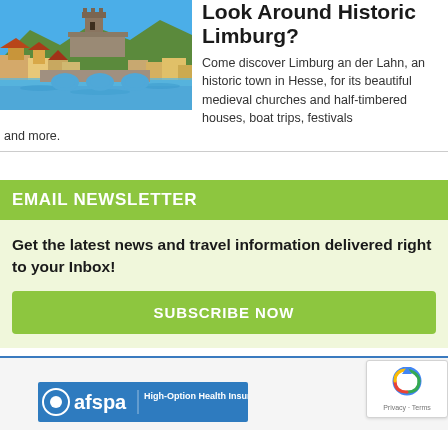[Figure (photo): Scenic photo of Limburg an der Lahn showing a medieval castle on a hilltop, colorful historic buildings along a river, and a stone arch bridge]
Look Around Historic Limburg?
Come discover Limburg an der Lahn, an historic town in Hesse, for its beautiful medieval churches and half-timbered houses, boat trips, festivals and more.
EMAIL NEWSLETTER
Get the latest news and travel information delivered right to your Inbox!
SUBSCRIBE NOW
[Figure (logo): AFSPA logo with High-Option Health Insurance text on blue banner]